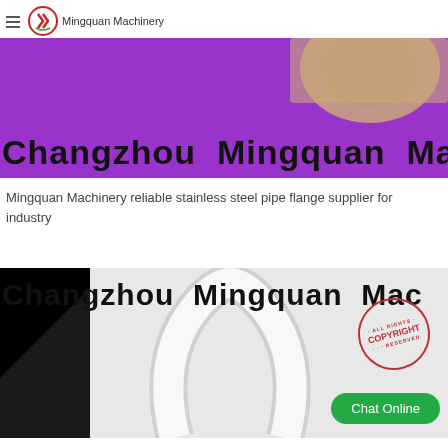Mingquan Machinery
[Figure (photo): Product photo on purple background with banner text 'Changzhou Mingquan Mach']
Mingquan Machinery reliable stainless steel pipe flange supplier for industry
[Figure (photo): Second product photo showing white pipe/ring fitting on dark background with copyright stamp and Chat Online button, banner text 'Changzhou Mingquan Mac']